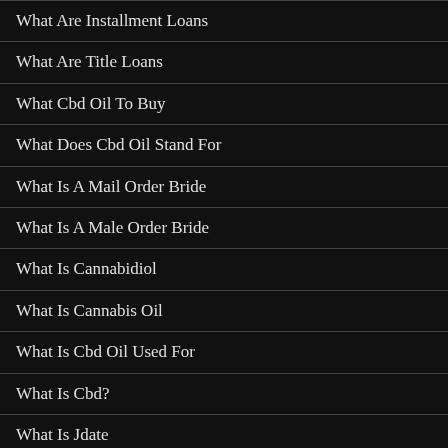What Are Installment Loans
What Are Title Loans
What Cbd Oil To Buy
What Does Cbd Oil Stand For
What Is A Mail Order Bride
What Is A Male Order Bride
What Is Cannabidiol
What Is Cannabis Oil
What Is Cbd Oil Used For
What Is Cbd?
What Is Jdate
What Is Prosper Loans
What Is The Used For…